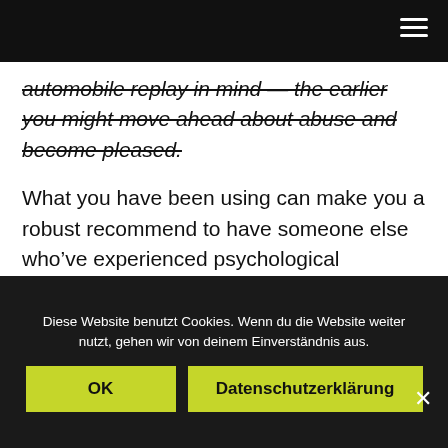automobile replay in mind — the earlier you might move ahead about abuse and become pleased.
What you have been using can make you a robust recommend to have someone else who've experienced psychological punishment. You are sure that now that thriving it is about over breaking off the abuser, and also the much more your restore, more you can let anyone else perform some same.
Diese Website benutzt Cookies. Wenn du die Website weiter nutzt, gehen wir von deinem Einverständnis aus.